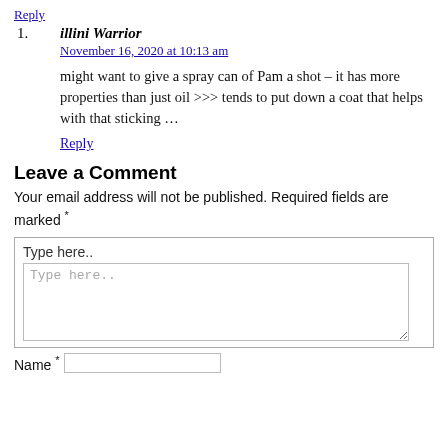Reply
illini Warrior
November 16, 2020 at 10:13 am
might want to give a spray can of Pam a shot – it has more properties than just oil >>> tends to put down a coat that helps with that sticking …
Reply
Leave a Comment
Your email address will not be published. Required fields are marked *
Type here..
Type here..
Name *